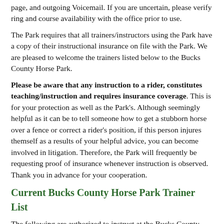page, and outgoing Voicemail. If you are uncertain, please verify ring and course availability with the office prior to use.
The Park requires that all trainers/instructors using the Park have a copy of their instructional insurance on file with the Park. We are pleased to welcome the trainers listed below to the Bucks County Horse Park.
Please be aware that any instruction to a rider, constitutes teaching/instruction and requires insurance coverage. This is for your protection as well as the Park's. Although seemingly helpful as it can be to tell someone how to get a stubborn horse over a fence or correct a rider's position, if this person injures themself as a results of your helpful advice, you can become involved in litigation. Therefore, the Park will frequently be requesting proof of insurance whenever instruction is observed. Thank you in advance for your cooperation.
Current Bucks County Horse Park Trainer List
The following are authorized to instruct at the Bucks County Horse Park and have maintained proof of insurance. If you have not provided proof of insurance, you CANNOT instruct at this facility. Please call the office for more information at 610-847-8597. Thank you.